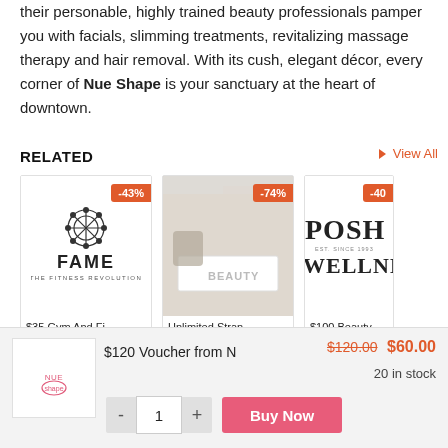their personable, highly trained beauty professionals pamper you with facials, slimming treatments, revitalizing massage therapy and hair removal. With its cush, elegant décor, every corner of Nue Shape is your sanctuary at the heart of downtown.
RELATED
View All
[Figure (screenshot): Card showing FAME THE FITNESS REVOLUTION logo with -43% badge, title: $35 Gym And Fi…]
[Figure (photo): Card showing a beauty salon reception area with -74% badge, title: Unlimited Stran…]
[Figure (screenshot): Card (partially visible) showing POSH WELLNESS logo with -40% badge, title: $100 Beauty Vo…]
[Figure (logo): Nue Shape logo in pink]
$120 Voucher from N
$120.00 $60.00
20 in stock
- 1 + Buy Now